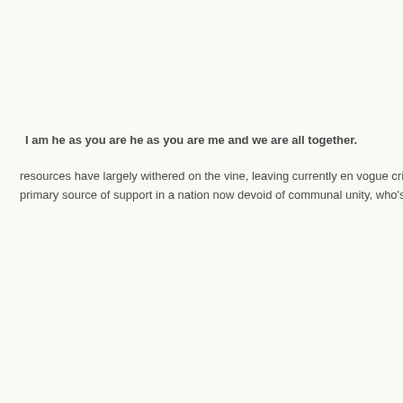I am he as you are he as you are me and we are all together.
resources have largely withered on the vine, leaving currently en vogue cri primary source of support in a nation now devoid of communal unity, who's